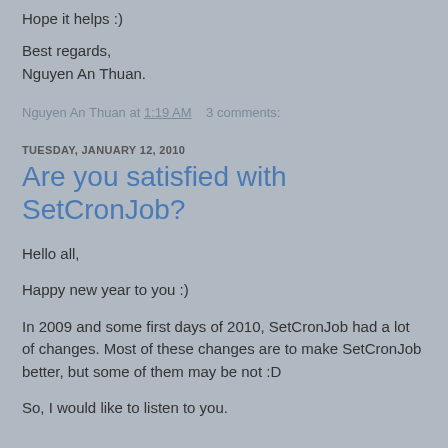Hope it helps :)
Best regards,
Nguyen An Thuan.
Nguyen An Thuan at 1:19 AM    3 comments:
TUESDAY, JANUARY 12, 2010
Are you satisfied with SetCronJob?
Hello all,
Happy new year to you :)
In 2009 and some first days of 2010, SetCronJob had a lot of changes. Most of these changes are to make SetCronJob better, but some of them may be not :D
So, I would like to listen to you.